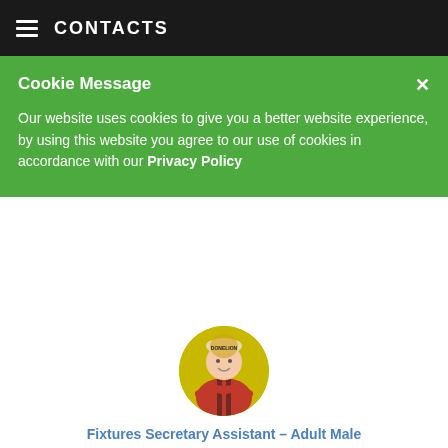CONTACTS
Cookie Message
Our website uses cookies to give you a better website experience, by using this website you agree to our use of cookies in accordance with our Privacy Policy
[Figure (photo): Circular avatar photo of Michael Chandler wearing a red and black sports jersey with a club badge, arms crossed]
Fixtures Secretary Assistant – Adult Male
Michael Chandler
+44 7804 906480
Contact Me